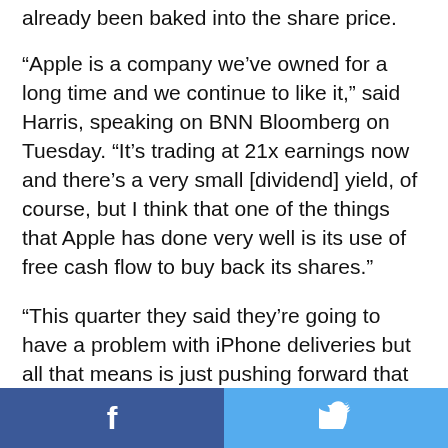already been baked into the share price.
“Apple is a company we’ve owned for a long time and we continue to like it,” said Harris, speaking on BNN Bloomberg on Tuesday. “It’s trading at 21x earnings now and there’s a very small [dividend] yield, of course, but I think that one of the things that Apple has done very well is its use of free cash flow to buy back its shares.”
“This quarter they said they’re going to have a problem with iPhone deliveries but all that means is just pushing forward that number down the road. I think the iPhone will be fine,” he said. “I think on the Services side, it’s quite incredible how well they’ve grown Services over the last little while. And thin…
[Figure (other): Social sharing bar with Facebook (f) and Twitter (bird icon) buttons at the bottom of the page]